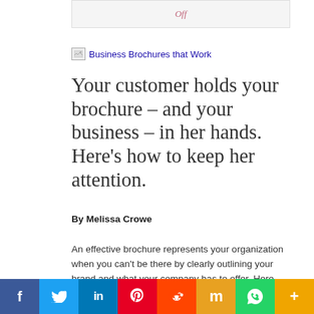[Figure (other): Partial top image showing italic text 'Off' in pink/rose color on a light background with border]
[Figure (other): Broken image placeholder labeled 'Business Brochures that Work']
Your customer holds your brochure – and your business – in her hands. Here's how to keep her attention.
By Melissa Crowe
An effective brochure represents your organization when you can't be there by clearly outlining your brand and what your company has to offer. Here are some strategies to create a brochure that will help close the deal.
Facebook Twitter LinkedIn Pinterest Reddit Mix WhatsApp More